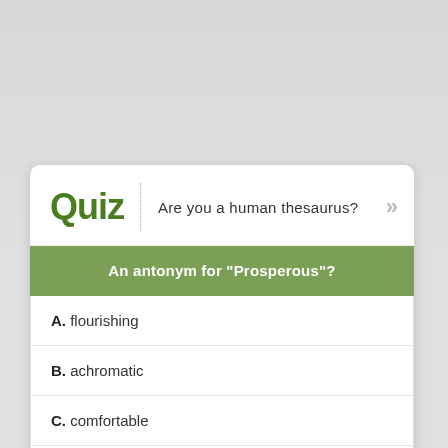Quiz | Are you a human thesaurus?
An antonym for "Prosperous"?
A. flourishing
B. achromatic
C. comfortable
D. palmy